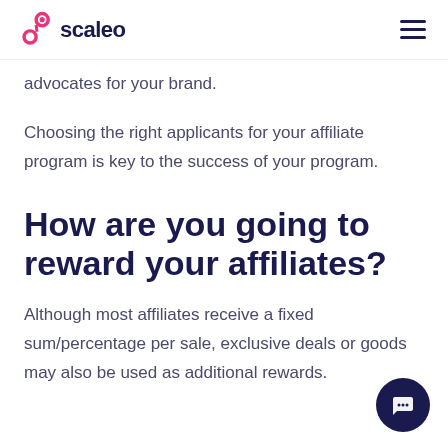scaleo
advocates for your brand.
Choosing the right applicants for your affiliate program is key to the success of your program.
How are you going to reward your affiliates?
Although most affiliates receive a fixed sum/percentage per sale, exclusive deals or goods may also be used as additional rewards.